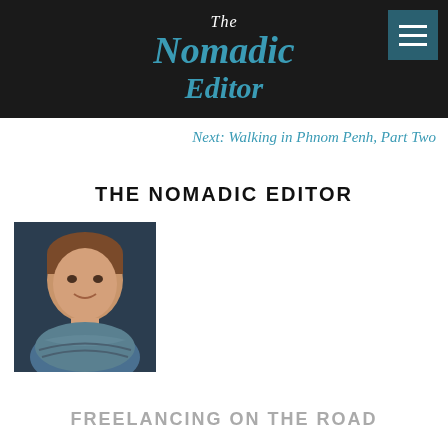The Nomadic Editor
Next: Walking in Phnom Penh, Part Two
THE NOMADIC EDITOR
[Figure (photo): Headshot of a woman with short brown hair wearing a blue scarf, dark background]
FREELANCING ON THE ROAD